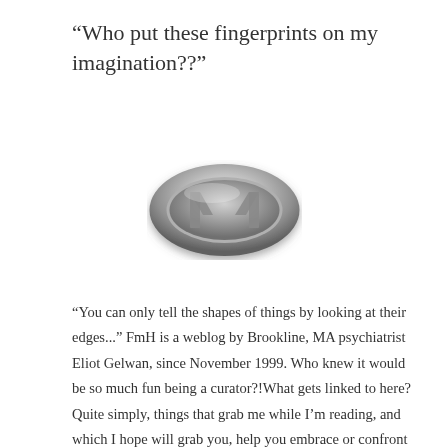“Who put these fingerprints on my imagination??”
[Figure (logo): Oval metallic silver logo with an embossed letter M design, giving a 3D chrome effect]
"You can only tell the shapes of things by looking at their edges..." FmH is a weblog by Brookline, MA psychiatrist Eliot Gelwan, since November 1999. Who knew it would be so much fun being a curator?!What gets linked to here? Quite simply, things that grab me while I’m reading, and which I hope will grab you, help you embrace or confront your dreams, hopes, fantasies, and fears. "In quoting others, we cite